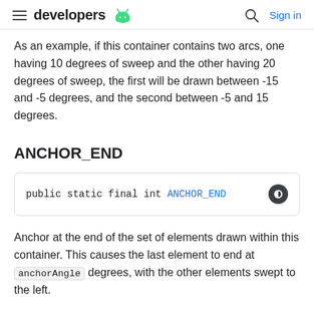developers [android logo] [search] Sign in
As an example, if this container contains two arcs, one having 10 degrees of sweep and the other having 20 degrees of sweep, the first will be drawn between -15 and -5 degrees, and the second between -5 and 15 degrees.
ANCHOR_END
public static final int ANCHOR_END
Anchor at the end of the set of elements drawn within this container. This causes the last element to end at anchorAngle degrees, with the other elements swept to the left.